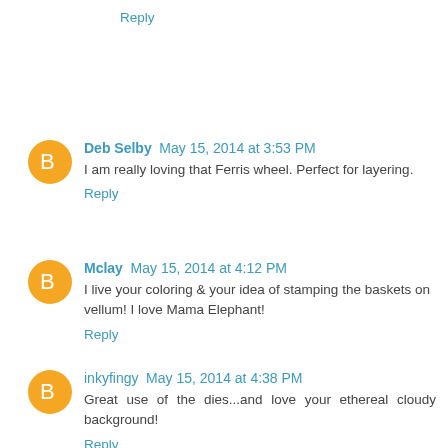Reply
Deb Selby May 15, 2014 at 3:53 PM
I am really loving that Ferris wheel. Perfect for layering.
Reply
Mclay May 15, 2014 at 4:12 PM
I live your coloring & your idea of stamping the baskets on vellum! I love Mama Elephant!
Reply
inkyfingy May 15, 2014 at 4:38 PM
Great use of the dies...and love your ethereal cloudy background!
Reply